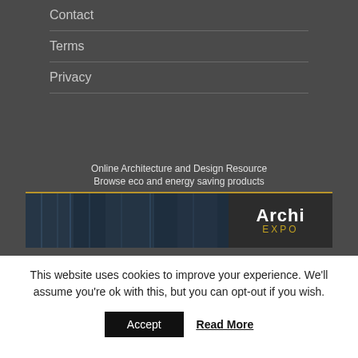Contact
Terms
Privacy
[Figure (other): ArchiExpo advertisement banner showing Online Architecture and Design Resource, Browse eco and energy saving products, with ArchiExpo logo on dark background]
This website uses cookies to improve your experience. We'll assume you're ok with this, but you can opt-out if you wish.
Accept
Read More